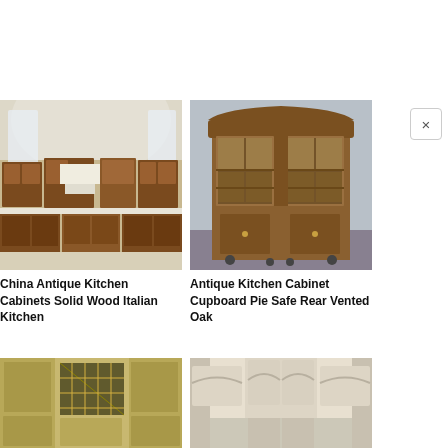[Figure (photo): Photo of China Antique Kitchen Cabinets Solid Wood Italian Kitchen - dark wood cabinets with arched ceiling and windows]
China Antique Kitchen Cabinets Solid Wood Italian Kitchen
[Figure (photo): Photo of an Antique Kitchen Cabinet Cupboard Pie Safe Rear Vented Oak - tall oak hutch cabinet with glass doors on top]
Antique Kitchen Cabinet Cupboard Pie Safe Rear Vented Oak
[Figure (photo): Photo of an antique yellow/gold painted kitchen cabinet with leaded glass doors]
[Figure (photo): Photo of white antique kitchen cabinets with arched detail panels]